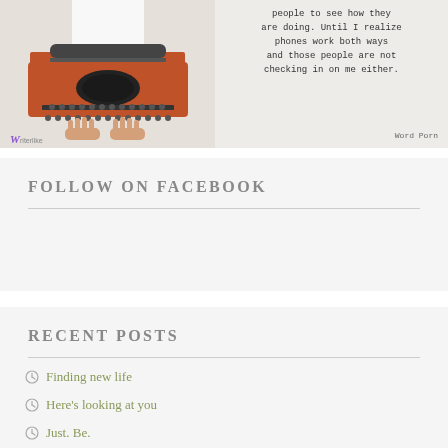[Figure (photo): Orange vintage typewriter with hands typing on it, on a white background, with a small purple 'W' logo in the bottom left corner]
people to see how they are doing. Until I realize phones work both ways and those people are not checking in on me either.

Word Porn
FOLLOW ON FACEBOOK
RECENT POSTS
Finding new life
Here's looking at you
Just. Be.